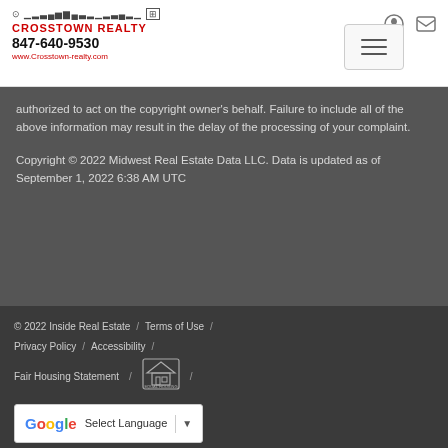[Figure (logo): Crosstown Realty logo with skyline icons, phone 847-640-9530 and website www.Crosstown-realty.com]
authorized to act on the copyright owner's behalf. Failure to include all of the above information may result in the delay of the processing of your complaint.
Copyright © 2022 Midwest Real Estate Data LLC. Data is updated as of September 1, 2022 6:38 AM UTC
© 2022 Inside Real Estate / Terms of Use / Privacy Policy / Accessibility / Fair Housing Statement / [Equal Housing logo] / Select Language ▼